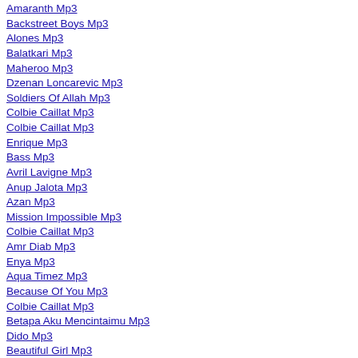Amaranth Mp3
Backstreet Boys Mp3
Alones Mp3
Balatkari Mp3
Maheroo Mp3
Dzenan Loncarevic Mp3
Soldiers Of Allah Mp3
Colbie Caillat Mp3
Colbie Caillat Mp3
Enrique Mp3
Bass Mp3
Avril Lavigne Mp3
Anup Jalota Mp3
Azan Mp3
Mission Impossible Mp3
Colbie Caillat Mp3
Amr Diab Mp3
Enya Mp3
Aqua Timez Mp3
Because Of You Mp3
Colbie Caillat Mp3
Betapa Aku Mencintaimu Mp3
Dido Mp3
Beautiful Girl Mp3
Bhool Bhulaiya Mp3